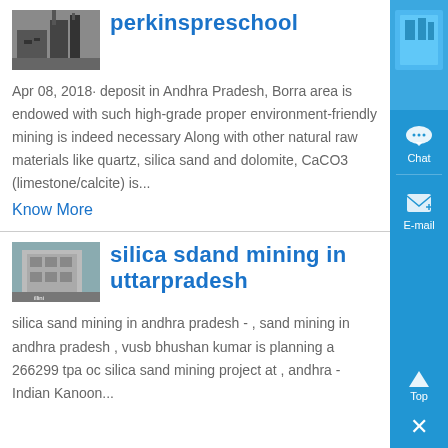perkinspreschool
Apr 08, 2018· deposit in Andhra Pradesh, Borra area is endowed with such high-grade proper environment-friendly mining is indeed necessary Along with other natural raw materials like quartz, silica sand and dolomite, CaCO3 (limestone/calcite) is...
Know More
silica sdand mining in uttarpradesh
silica sand mining in andhra pradesh - , sand mining in andhra pradesh , vusb bhushan kumar is planning a 266299 tpa oc silica sand mining project at , andhra - Indian Kanoon...